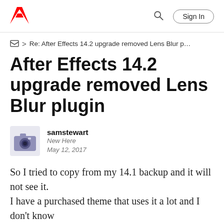Adobe | Sign In
> Re: After Effects 14.2 upgrade removed Lens Blur p…
After Effects 14.2 upgrade removed Lens Blur plugin
samstewart
New Here
May 12, 2017
So I tried to copy from my 14.1 backup and it will not see it.
I have a purchased theme that uses it a lot and I don't know
the right plugin to select so I can copy and paste the settings.